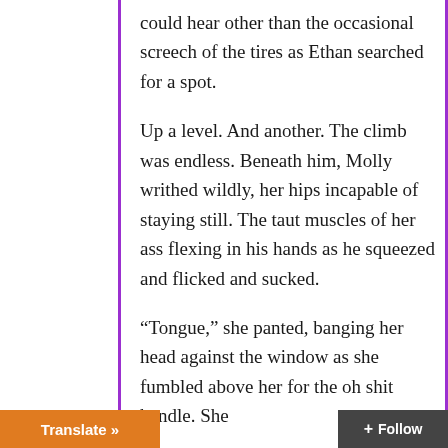could hear other than the occasional screech of the tires as Ethan searched for a spot.
Up a level. And another. The climb was endless. Beneath him, Molly writhed wildly, her hips incapable of staying still. The taut muscles of her ass flexing in his hands as he squeezed and flicked and sucked.
“Tongue,” she panted, banging her head against the window as she fumbled above her for the oh shit handle. She [of half laid out and half